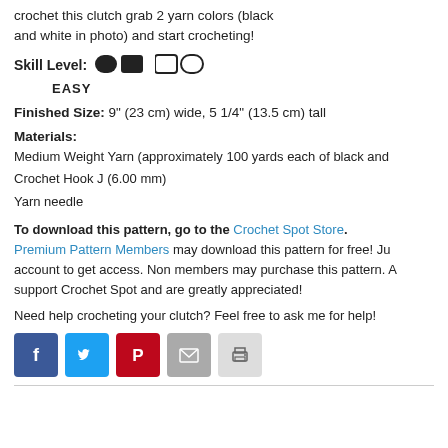crochet this clutch grab 2 yarn colors (black and white in photo) and start crocheting!
Skill Level: EASY
Finished Size: 9" (23 cm) wide, 5 1/4" (13.5 cm) tall
Materials: Medium Weight Yarn (approximately 100 yards each of black and white), Crochet Hook J (6.00 mm), Yarn needle
To download this pattern, go to the Crochet Spot Store. Premium Pattern Members may download this pattern for free! Just log into your account to get access. Non members may purchase this pattern. All purchases support Crochet Spot and are greatly appreciated!
Need help crocheting your clutch? Feel free to ask me for help!
[Figure (infographic): Social media sharing icons: Facebook (blue), Twitter (light blue), Pinterest (red), Email (gray), Print (light gray)]